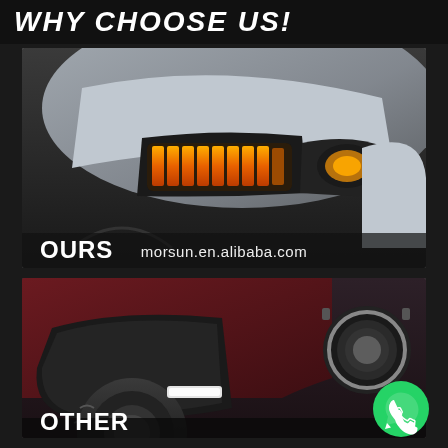WHY CHOOSE US!
[Figure (photo): Close-up photo of a Jeep/off-road vehicle front grille area with amber/orange LED lights labeled OURS, showing product quality. Watermark: morsun.en.alibaba.com]
[Figure (photo): Photo of a Jeep Wrangler front fender/wheel arch area with white LED marker light labeled OTHER, showing competitor product. WhatsApp button visible in bottom-right corner.]